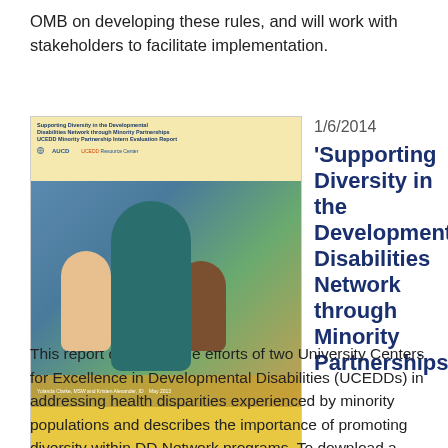OMB on developing these rules, and will work with stakeholders to facilitate implementation.
[Figure (photo): Cover of the report 'Supporting Diversity in the Developmental Disabilities Network through Minority Partnerships' published by AUCD and UCEDD Resource Center, featuring a photo of a woman with two children.]
1/6/2014
'Supporting Diversity in the Developmental Disabilities Network through Minority Partnerships' Released by AUCD
This report describes the efforts of two University Centers for Excellence in Developmental Disabilities (UCEDDs) in addressing health disparities experienced by minority populations and describes the importance of promoting diversity within DD Network programs. To download a free PDF of the report or to purchase a hard copy, visit